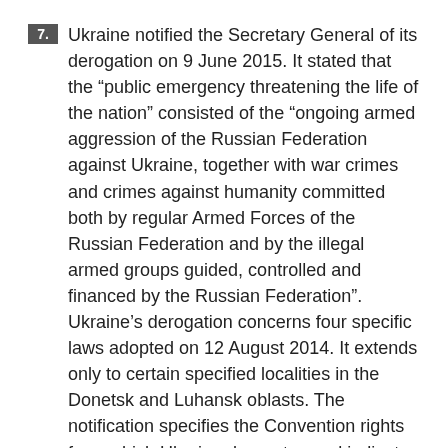7. Ukraine notified the Secretary General of its derogation on 9 June 2015. It stated that the “public emergency threatening the life of the nation” consisted of the “ongoing armed aggression of the Russian Federation against Ukraine, together with war crimes and crimes against humanity committed both by regular Armed Forces of the Russian Federation and by the illegal armed groups guided, controlled and financed by the Russian Federation”. Ukraine’s derogation concerns four specific laws adopted on 12 August 2014. It extends only to certain specified localities in the Donetsk and Luhansk oblasts. The notification specifies the Convention rights from which Ukraine derogates and indicates the nature of the circumstances in which the derogation may be withdrawn.
8. The Assembly reiterates its condemnation of the Russian aggression in Ukraine, in violation of international law and the principles upheld by the Council of Europe, and recalls the credible reports of violations of